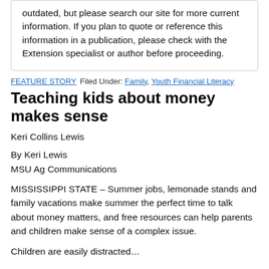outdated, but please search our site for more current information. If you plan to quote or reference this information in a publication, please check with the Extension specialist or author before proceeding.
FEATURE STORY   Filed Under: Family, Youth Financial Literacy
Teaching kids about money makes sense
Keri Collins Lewis
By Keri Lewis
MSU Ag Communications
MISSISSIPPI STATE – Summer jobs, lemonade stands and family vacations make summer the perfect time to talk about money matters, and free resources can help parents and children make sense of a complex issue.
Children are easily distracted…